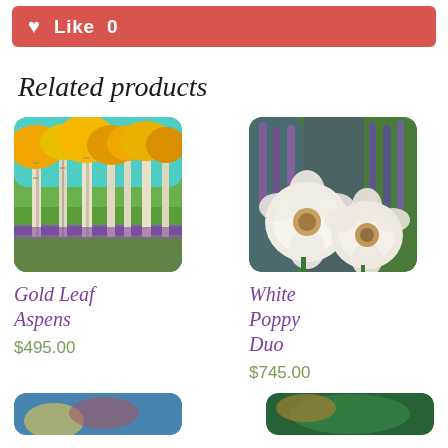[Figure (other): Red Like button with heart icon showing 'Like 0']
Related products
[Figure (illustration): Gold Leaf Aspens painting - colorful autumn birch trees with purple wildflowers]
Gold Leaf Aspens
$495.00
[Figure (illustration): White Poppy Duo painting - white poppies with purple and blue flowers in background]
White Poppy Duo
$745.00
[Figure (illustration): Partial thumbnail of another painting at bottom left]
[Figure (illustration): Partial thumbnail of another painting at bottom right]